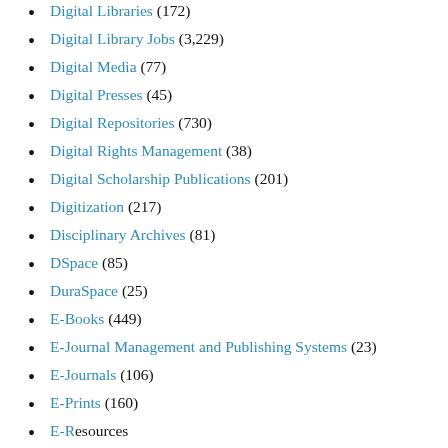Digital Libraries (172)
Digital Library Jobs (3,229)
Digital Media (77)
Digital Presses (45)
Digital Repositories (730)
Digital Rights Management (38)
Digital Scholarship Publications (201)
Digitization (217)
Disciplinary Archives (81)
DSpace (85)
DuraSpace (25)
E-Books (449)
E-Journal Management and Publishing Systems (23)
E-Journals (106)
E-Prints (160)
E-Resources (...)